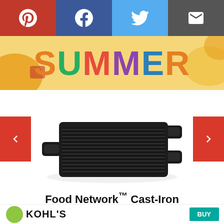[Figure (screenshot): Social sharing bar with Pinterest (red), Facebook (blue), Twitter (light blue), and Email (dark gray) buttons, each with white icons]
[Figure (illustration): Summer banner with colorful SUMMER text in orange, green, red, purple, blue, orange letters on a yellow background with decorative shapes]
[Figure (photo): Black cast-iron reversible grill pan with ribbed cooking surface and two handles, shown on white background, with red left and right navigation arrows]
Food Network™ Cast-Iron Reversible Grill
[Figure (logo): Kohl's logo with green circle and KOHLS text, and a teal Buy button on the right]